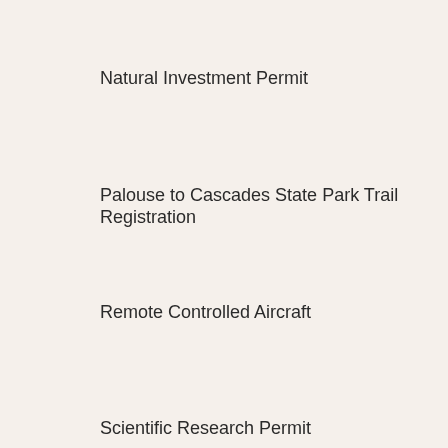Natural Investment Permit
Palouse to Cascades State Park Trail Registration
Remote Controlled Aircraft
Scientific Research Permit
Sno-Park (snowmobile) Permit
Sno-Park (non-motorized) Permits
Special Activities Permit